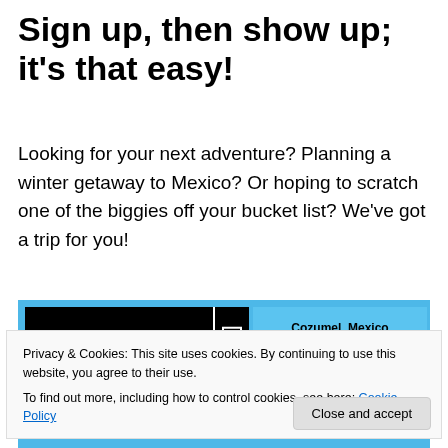Sign up, then show up; it's that easy!
Looking for your next adventure? Planning a winter getaway to Mexico? Or hoping to scratch one of the biggies off your bucket list? We've got a trip for you!
[Figure (screenshot): Screenshot of AtkinsScuba.com website showing logo, Cozumel Mexico trip info for 2014 marking their 8th year of group travel, January 28 to February 2 2014, and Lombok Strait Indonesia banner]
Privacy & Cookies: This site uses cookies. By continuing to use this website, you agree to their use.
To find out more, including how to control cookies, see here: Cookie Policy
Close and accept